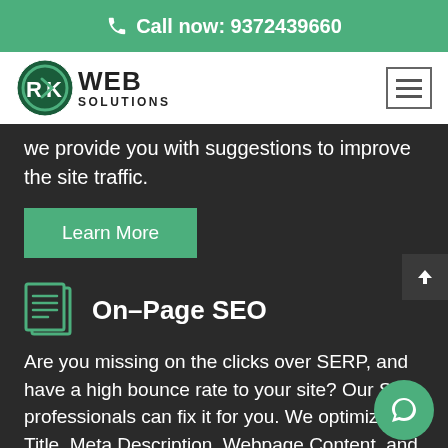Call now: 9372439660
[Figure (logo): RK Web Solutions logo with circular emblem and text]
we provide you with suggestions to improve the site traffic.
Learn More
On-Page SEO
Are you missing on the clicks over SERP, and have a high bounce rate to your site? Our SEO professionals can fix it for you. We optimize the Title, Meta Description, Webpage Content, and Architecture to improve its readability and engagement.